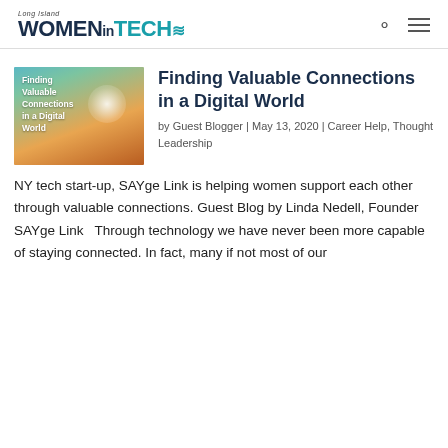Long Island WOMEN in TECH
[Figure (photo): Article thumbnail image showing hands reaching toward glowing light in sunset with text 'Finding Valuable Connections in a Digital World']
Finding Valuable Connections in a Digital World
by Guest Blogger | May 13, 2020 | Career Help, Thought Leadership
NY tech start-up, SAYge Link is helping women support each other through valuable connections. Guest Blog by Linda Nedell, Founder SAYge Link   Through technology we have never been more capable of staying connected. In fact, many if not most of our